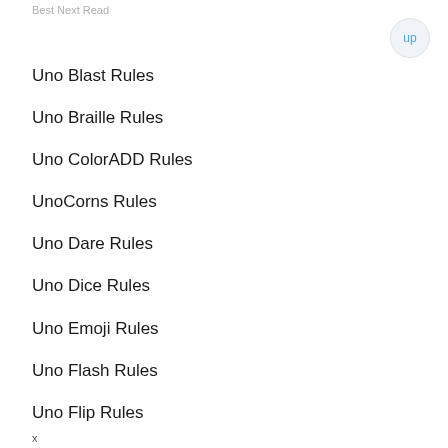Best Next Read
Uno Blast Rules
Uno Braille Rules
Uno ColorADD Rules
UnoCorns Rules
Uno Dare Rules
Uno Dice Rules
Uno Emoji Rules
Uno Flash Rules
Uno Flip Rules
Uno Frozen Rules
Uno Frozen 2 Rules
x